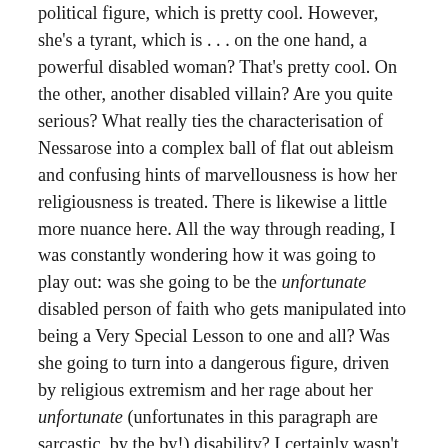political figure, which is pretty cool. However, she's a tyrant, which is . . . on the one hand, a powerful disabled woman? That's pretty cool. On the other, another disabled villain? Are you quite serious? What really ties the characterisation of Nessarose into a complex ball of flat out ableism and confusing hints of marvellousness is how her religiousness is treated. There is likewise a little more nuance here. All the way through reading, I was constantly wondering how it was going to play out: was she going to be the unfortunate disabled person of faith who gets manipulated into being a Very Special Lesson to one and all? Was she going to turn into a dangerous figure, driven by religious extremism and her rage about her unfortunate (unfortunates in this paragraph are sarcastic, by the by!) disability? I certainly wasn't expecting either her faith or her disability to be treated respectfully. And you know something? I was right. She ends up being a theocratic tyrant who has some pretty nasty effects on her people. A thousand points if you too were betting on an evil disabled